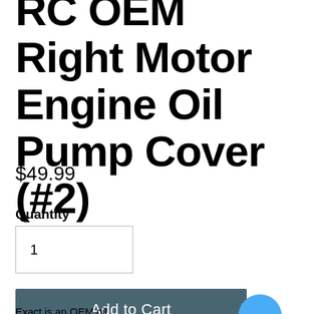RC OEM Right Motor Engine Oil Pump Cover (#2)
$49.99
Quantity
1
Add to Cart
…
Exact is an OEM oil...